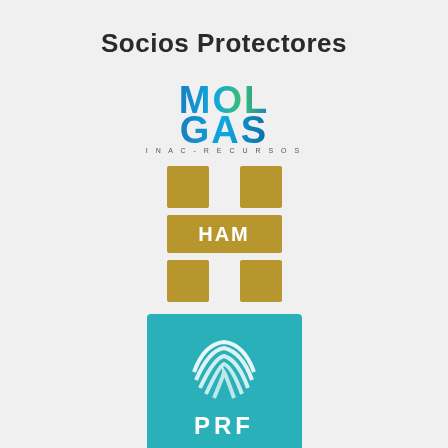Socios Protectores
[Figure (logo): MOLGAS logo with colorful blue-green text spelling MOL GAS]
[Figure (logo): HAM logo with gold/yellow H letter mark and HAM text]
[Figure (logo): PRF logo with teal/cyan square background, white spiral globe symbol and PRF text]
[Figure (logo): PRIMAGAS logo with red power/circle icon and PRIMAGAS text in red]